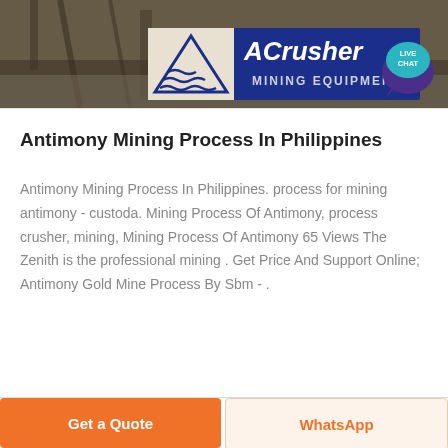[Figure (photo): Header banner showing a mining/industrial facility in the background with the ACrusher Mining Equipment logo overlay — blue logo with white triangle and wave design, and a 'LIVE CHAT' speech bubble in teal/purple on the right.]
Antimony Mining Process In Philippines
Antimony Mining Process In Philippines. process for mining antimony - custoda. Mining Process Of Antimony, process crusher, mining, Mining Process Of Antimony 65 Views The Zenith is the professional mining . Get Price And Support Online; Antimony Gold Mine Process By Sbm - .
Get a Quote | WhatsApp